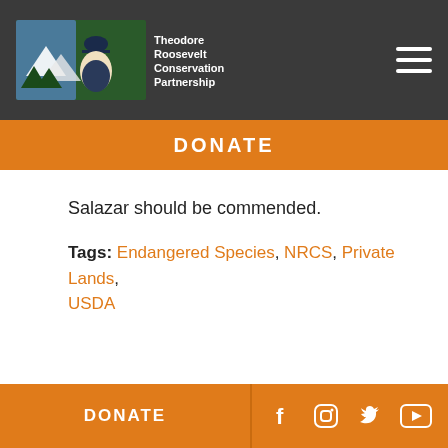[Figure (logo): Theodore Roosevelt Conservation Partnership logo with man in hat and mountain/forest background]
DONATE
Salazar should be commended.
Tags: Endangered Species, NRCS, Private Lands, USDA
[Figure (photo): Close-up photo of a moose head against a green blurred forest background]
DONATE